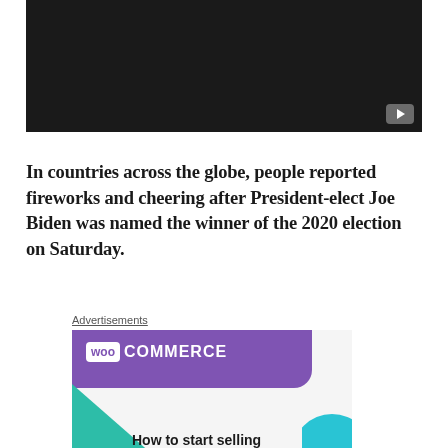[Figure (screenshot): Dark/black video player with a gray YouTube-style play button in the bottom right corner]
In countries across the globe, people reported fireworks and cheering after President-elect Joe Biden was named the winner of the 2020 election on Saturday.
Advertisements
[Figure (screenshot): WooCommerce advertisement banner showing the WooCommerce logo in white on purple background with teal and cyan decorative shapes and text 'How to start selling']